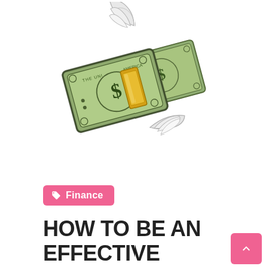[Figure (illustration): Enamel pin illustration of a stack of US dollar bills with wings (white angel wings on top-right and bottom), held together by a gold money clip or bar. The bills are green with a dollar sign visible, styled as a collectible pin.]
Finance
HOW TO BE AN EFFECTIVE Investor